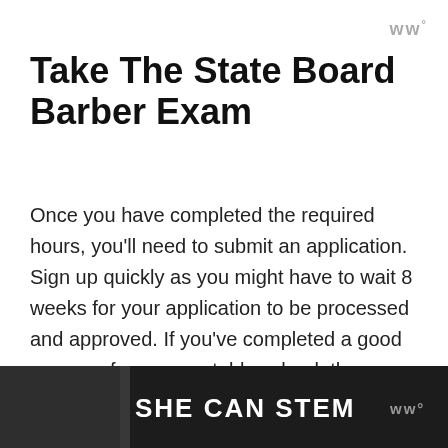ww°
Take The State Board Barber Exam
Once you have completed the required hours, you'll need to submit an application. Sign up quickly as you might have to wait 8 weeks for your application to be processed and approved. If you've completed a good program from a reputable school, then your classes will have already covered everything you should know for the test.
[Figure (photo): Dark banner image with bold white text reading 'SHE CAN STEM' and a watermark logo on the right side.]